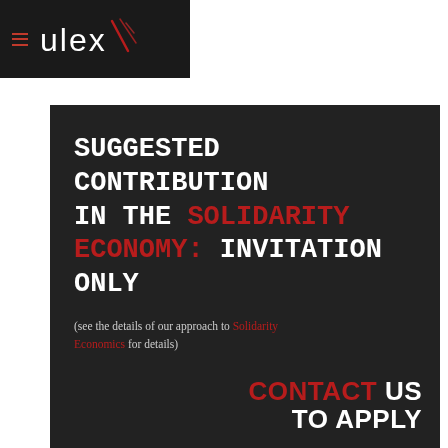≡ ulex
SUGGESTED CONTRIBUTION IN THE SOLIDARITY ECONOMY: INVITATION ONLY
(see the details of our approach to Solidarity Economics for details)
CONTACT US TO APPLY